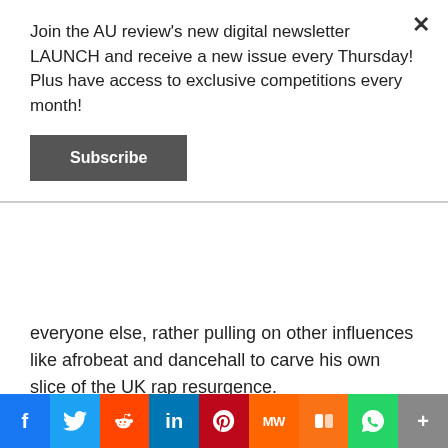Join the AU review's new digital newsletter LAUNCH and receive a new issue every Thursday! Plus have access to exclusive competitions every month!
Subscribe
everyone else, rather pulling on other influences like afrobeat and dancehall to carve his own slice of the UK rap resurgence.
[Figure (screenshot): YouTube video embed showing J Hus - Dem Boy Paigon (Prod. @Bl... with #DEMBOYPAIGON text and play button, flanked by orange album art panels]
f  Twitter  Reddit  in  Pinterest  mw  m  WhatsApp  +